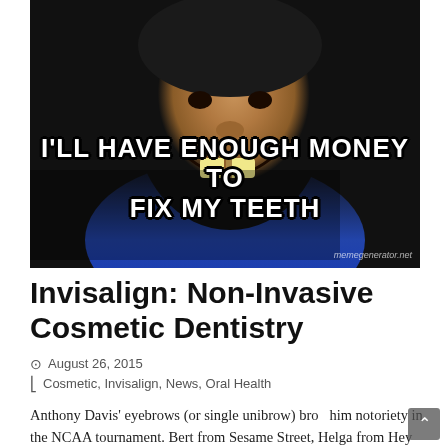[Figure (photo): Meme image of a basketball player (Anthony Davis) smiling widely with notable teeth gap, wearing a blue jersey, with white bold Impact-font text overlay reading: "I'LL HAVE ENOUGH MONEY TO FIX MY TEETH" and watermark 'memegenerator.net' in lower right.]
Invisalign: Non-Invasive Cosmetic Dentistry
August 26, 2015
Cosmetic, Invisalign, News, Oral Health
Anthony Davis' eyebrows (or single unibrow) brought him notoriety in the NCAA tournament. Bert from Sesame Street, Helga from Hey Arnold, Fran from